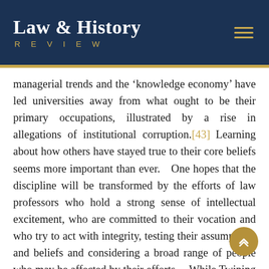Law & History REVIEW
managerial trends and the 'knowledge economy' have led universities away from what ought to be their primary occupations, illustrated by a rise in allegations of institutional corruption.[43] Learning about how others have stayed true to their core beliefs seems more important than ever. One hopes that the discipline will be transformed by the efforts of law professors who hold a strong sense of intellectual excitement, who are committed to their vocation and who try to act with integrity, testing their assumptions and beliefs and considering a broad range of people who may be affected by their efforts. While Twining and Arthurs are strong exemplars of this approach, it falls to the current generation to revisit the basis of their own optimism or pessimism for the discipline and think seriously about